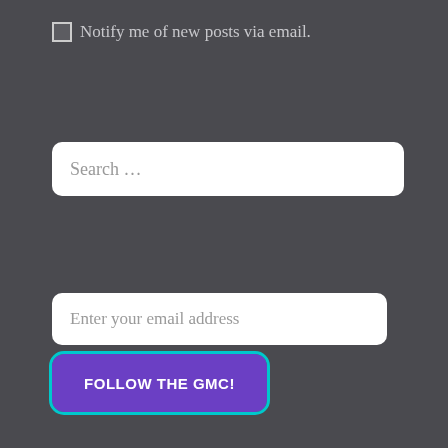Notify me of new posts via email.
[Figure (screenshot): Search input field with placeholder text 'Search ...']
[Figure (screenshot): Email input field with placeholder 'Enter your email address' and a purple 'FOLLOW THE GMC!' button with cyan outline]